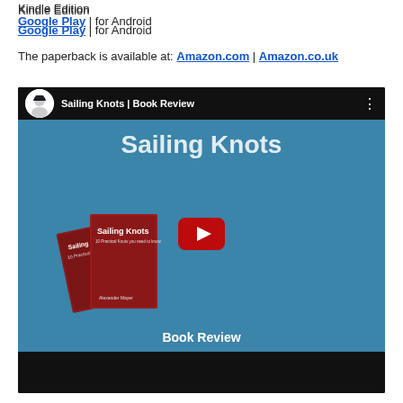Kindle Edition
Google Play | for Android
The paperback is available at: Amazon.com | Amazon.co.uk
[Figure (screenshot): YouTube video thumbnail for 'Sailing Knots | Book Review' showing two red Sailing Knots books on a blue background with a YouTube play button overlay and 'Book Review' text at the bottom.]